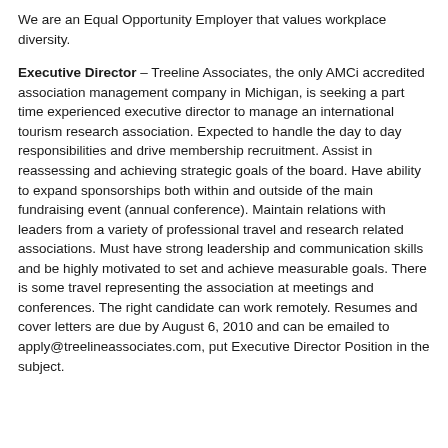We are an Equal Opportunity Employer that values workplace diversity.
Executive Director – Treeline Associates, the only AMCi accredited association management company in Michigan, is seeking a part time experienced executive director to manage an international tourism research association. Expected to handle the day to day responsibilities and drive membership recruitment. Assist in reassessing and achieving strategic goals of the board. Have ability to expand sponsorships both within and outside of the main fundraising event (annual conference). Maintain relations with leaders from a variety of professional travel and research related associations. Must have strong leadership and communication skills and be highly motivated to set and achieve measurable goals. There is some travel representing the association at meetings and conferences. The right candidate can work remotely. Resumes and cover letters are due by August 6, 2010 and can be emailed to apply@treelineassociates.com, put Executive Director Position in the subject.